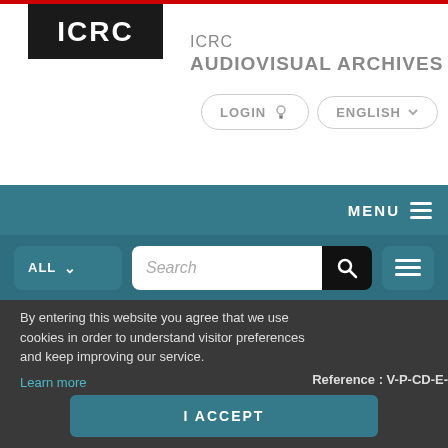[Figure (logo): ICRC logo — white bold text on black background]
ICRC AUDIOVISUAL ARCHIVES
LOGIN
ENGLISH
MENU
ALL
Search
By entering this website you agree that we use cookies in order to understand visitor preferences and keep improving our service. Learn more
Reference : V-P-CD-E-
I ACCEPT